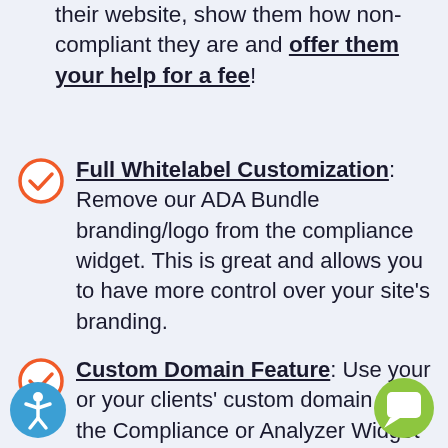their website, show them how non-compliant they are and offer them your help for a fee!
Full Whitelabel Customization: Remove our ADA Bundle branding/logo from the compliance widget. This is great and allows you to have more control over your site's branding.
Custom Domain Feature: Use your or your clients' custom domain as the Compliance or Analyzer Widget Code.